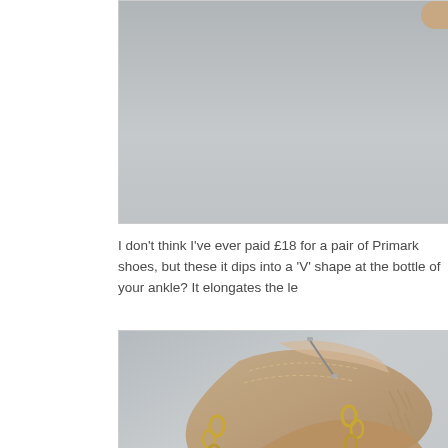[Figure (photo): Top portion of a photo showing a light grey background with a small beige/tan object visible at the top right corner, likely part of a shoe or sandal]
I don't think I've ever paid £18 for a pair of Primark shoes, but these it dips into a 'V' shape at the bottle of your ankle? It elongates the le...
[Figure (photo): Close-up photo of a nude/beige strappy sandal with gold metallic ring hardware details. The sandal features multiple crossed straps with stitching and gold ring accents, photographed against a grey background.]